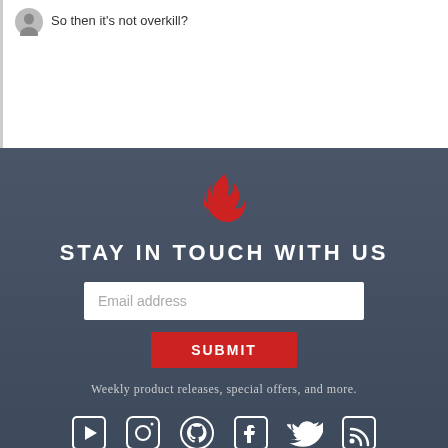So then it's not overkill?
[Figure (logo): Red flame/fire logo icon]
STAY IN TOUCH WITH US
[Figure (screenshot): Email address input field with placeholder text]
[Figure (screenshot): Red SUBMIT button]
Weekly product releases, special offers, and more.
[Figure (infographic): Social media icons: YouTube, Instagram, GitHub, Facebook, Twitter, RSS]